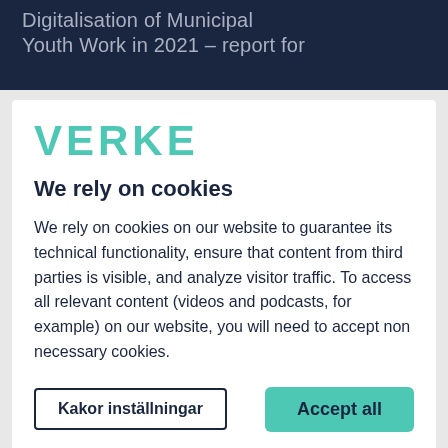Digitalisation of Municipal Youth Work in 2021 – report for
[Figure (logo): VERKE logo in teal/mint color, bold rounded letters]
We rely on cookies
We rely on cookies on our website to guarantee its technical functionality, ensure that content from third parties is visible, and analyze visitor traffic. To access all relevant content (videos and podcasts, for example) on our website, you will need to accept non necessary cookies.
Kakor inställningar
Accept all